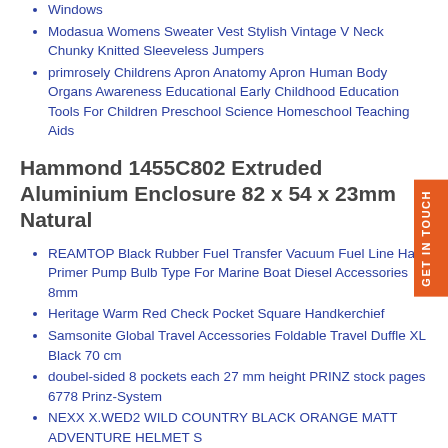Windows
Modasua Womens Sweater Vest Stylish Vintage V Neck Chunky Knitted Sleeveless Jumpers
primrosely Childrens Apron Anatomy Apron Human Body Organs Awareness Educational Early Childhood Education Tools For Children Preschool Science Homeschool Teaching Aids
Hammond 1455C802 Extruded Aluminium Enclosure 82 x 54 x 23mm Natural
REAMTOP Black Rubber Fuel Transfer Vacuum Fuel Line Hand Primer Pump Bulb Type For Marine Boat Diesel Accessories 8mm
Heritage Warm Red Check Pocket Square Handkerchief
Samsonite Global Travel Accessories Foldable Travel Duffle XL Black 70 cm
doubel-sided 8 pockets each 27 mm height PRINZ stock pages 6778 Prinz-System
NEXX X.WED2 WILD COUNTRY BLACK ORANGE MATT ADVENTURE HELMET S
LYXDZW Intake Scoop Vent Cover Universal Roof Car Auto Decorative Hood Scoop Air Flow Intake Hoods Scoop Vent Bonnet